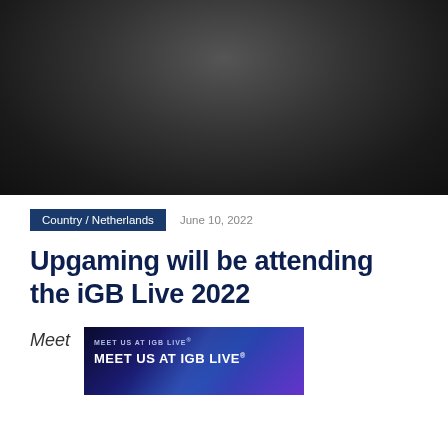[Figure (photo): Dark gradient hero image with radial gradient, dark center fading to lighter gray at bottom]
Country / Netherlands   June 10, 2022
Upgaming will be attending the iGB Live 2022
Meet
[Figure (illustration): iGB Live 2022 promotional banner with dark blue/purple gradient background and 'MEET US AT iGB LIVE' text]